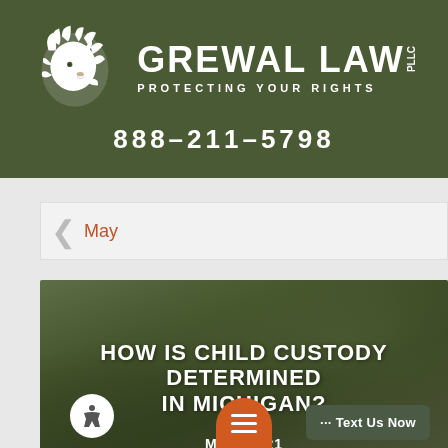[Figure (logo): Grewal Law PLLC logo with lion head icon and tagline 'Protecting Your Rights' on dark green background with phone number 888-211-5798]
May
[Figure (photo): Article card with background photo of people outdoors with trees, overlaid with text 'HOW IS CHILD CUSTODY DETERMINED IN MICHIGAN?' and date 'May 21']